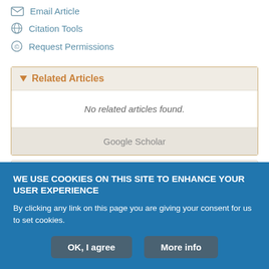Email Article
Citation Tools
Request Permissions
Related Articles
No related articles found.
Google Scholar
Cited By...
WE USE COOKIES ON THIS SITE TO ENHANCE YOUR USER EXPERIENCE
By clicking any link on this page you are giving your consent for us to set cookies.
OK, I agree
More info